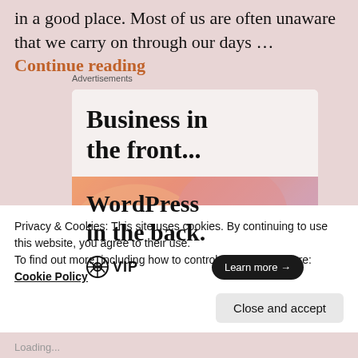in a good place. Most of us are often unaware that we carry on through our days … Continue reading
Advertisements
[Figure (screenshot): WordPress VIP advertisement showing 'Business in the front...' and 'WordPress in the back.' with a Learn more button on a gradient orange-pink background]
Privacy & Cookies: This site uses cookies. By continuing to use this website, you agree to their use.
To find out more, including how to control cookies, see here: Cookie Policy
Close and accept
Loading...